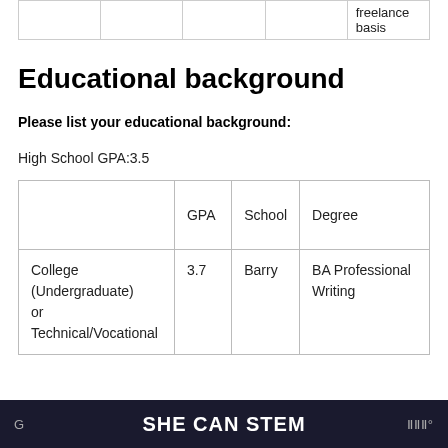|  |  |  |  | freelance basis |
| --- | --- | --- | --- | --- |
|  |  |  |  | freelance basis |
Educational background
Please list your educational background:
High School GPA:3.5
|  | GPA | School | Degree |
| --- | --- | --- | --- |
| College (Undergraduate) or Technical/Vocational | 3.7 | Barry | BA Professional Writing |
SHE CAN STEM